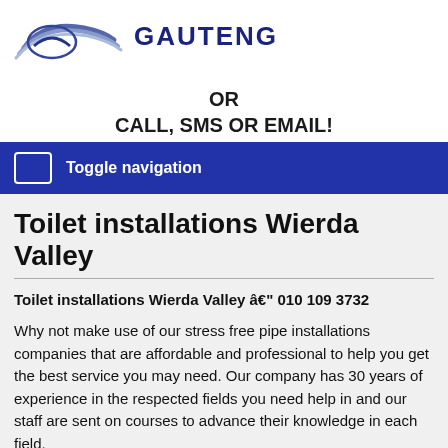[Figure (logo): Gauteng company logo with swoosh arcs in blue/grey and bold dark blue brand name GAUTENG]
OR
CALL, SMS OR EMAIL!
Toggle navigation
Toilet installations Wierda Valley
Toilet installations Wierda Valley â€" 010 109 3732
Why not make use of our stress free pipe installations companies that are affordable and professional to help you get the best service you may need. Our company has 30 years of experience in the respected fields you need help in and our staff are sent on courses to advance their knowledge in each field.
These services are only the best in the industry. We are the expert and